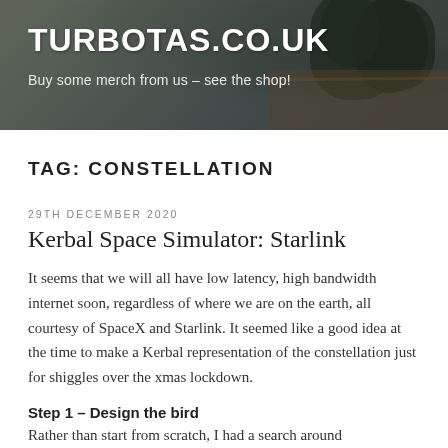[Figure (photo): Website header banner with dark overlay showing plants/decor in the background]
TURBOTAS.CO.UK
Buy some merch from us – see the shop!
TAG: CONSTELLATION
29TH DECEMBER 2020
Kerbal Space Simulator: Starlink
It seems that we will all have low latency, high bandwidth internet soon, regardless of where we are on the earth, all courtesy of SpaceX and Starlink. It seemed like a good idea at the time to make a Kerbal representation of the constellation just for shiggles over the xmas lockdown.
Step 1 – Design the bird
Rather than start from scratch, I had a search around